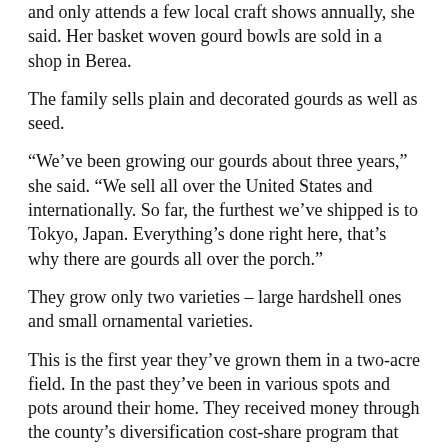and only attends a few local craft shows annually, she said. Her basket woven gourd bowls are sold in a shop in Berea.
The family sells plain and decorated gourds as well as seed.
“We’ve been growing our gourds about three years,” she said. “We sell all over the United States and internationally. So far, the furthest we’ve shipped is to Tokyo, Japan. Everything’s done right here, that’s why there are gourds all over the porch.”
They grow only two varieties – large hardshell ones and small ornamental varieties.
This is the first year they’ve grown them in a two-acre field. In the past they’ve been in various spots and pots around their home. They received money through the county’s diversification cost-share program that uses money from the state TobaccoSettlement to help increase their production.